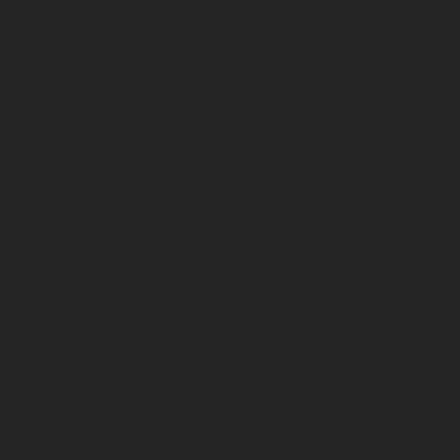Alsalar
While Pippi Longsto... this book is just a ch...
FailCrew
I bought this book to... Luckily I have a 4-ye... every page, and far...
It's good, just be wa...
Enila
All were great!!
Nikok
This book is an exc...
My daughter really e...